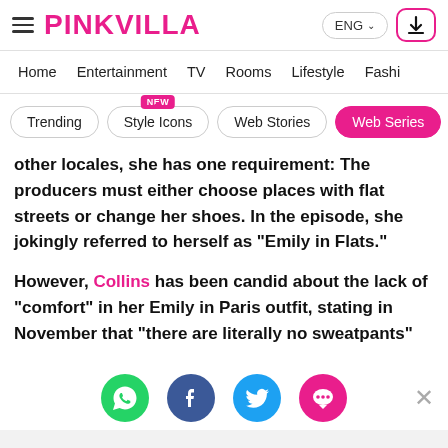PINKVILLA — ENG
Home  Entertainment  TV  Rooms  Lifestyle  Fashi
Trending
Style Icons [NEW]
Web Stories
Web Series
other locales, she has one requirement: The producers must either choose places with flat streets or change her shoes. In the episode, she jokingly referred to herself as "Emily in Flats."
However, Collins has been candid about the lack of "comfort" in her Emily in Paris outfit, stating in November that "there are literally no sweatpants"
[Figure (other): Social share icons row: WhatsApp (green), Facebook (dark blue), Twitter (blue), Comments/chat (pink-red). Close X button on right.]